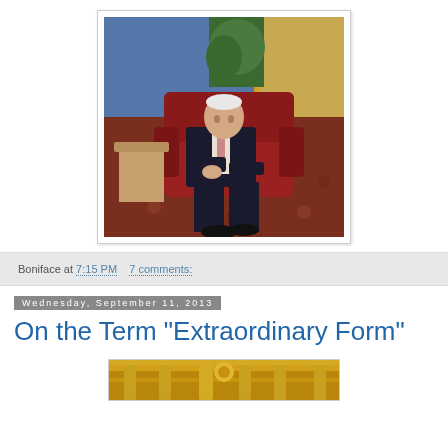[Figure (photo): An elderly man in a dark suit and tie sitting in a large red wingback armchair in a hotel or conference lobby setting, with a patterned carpet, blue wall, and potted plant visible in the background. The photo has a white border/frame.]
Boniface at 7:15 PM    7 comments:
Wednesday, September 11, 2013
On the Term "Extraordinary Form"
[Figure (photo): Partial view of an ornate golden altar, partially cropped at the bottom of the page.]